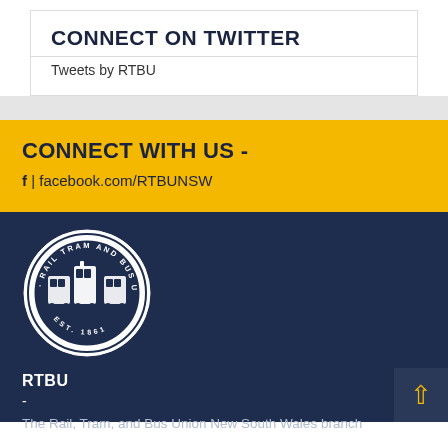CONNECT ON TWITTER
Tweets by RTBU
CONNECT WITH US -
f | facebook.com/RTBUNSW
[Figure (logo): Rail Tram and Bus Union circular seal logo with trains and text EST. 1861]
RTBU
-
The Rail, Tram, and Bus Union New South Wales branch